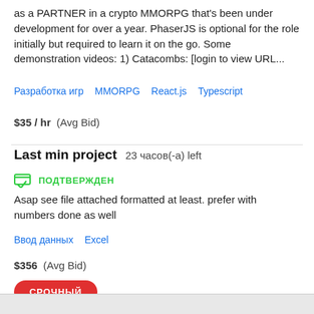as a PARTNER in a crypto MMORPG that's been under development for over a year. PhaserJS is optional for the role initially but required to learn it on the go. Some demonstration videos: 1) Catacombs: [login to view URL...
Разработка игр   MMORPG   React.js   Typescript
$35 / hr   (Avg Bid)
Last min project   23 часов(-а) left
ПОДТВЕРЖДЕН
Asap see file attached formatted at least. prefer with numbers done as well
Ввод данных   Excel
$356   (Avg Bid)
СРОЧНЫЙ